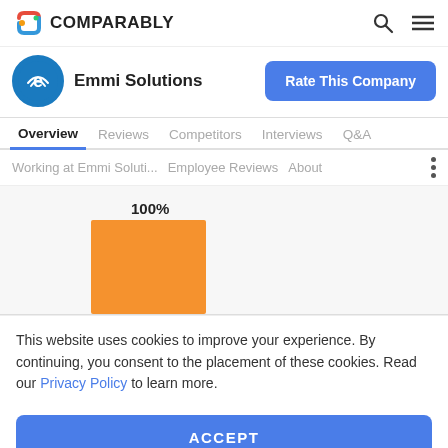COMPARABLY
Emmi Solutions
Overview  Reviews  Competitors  Interviews  Q&A
Working at Emmi Soluti...  Employee Reviews  About
[Figure (bar-chart): 100%]
This website uses cookies to improve your experience. By continuing, you consent to the placement of these cookies. Read our Privacy Policy to learn more.
ACCEPT